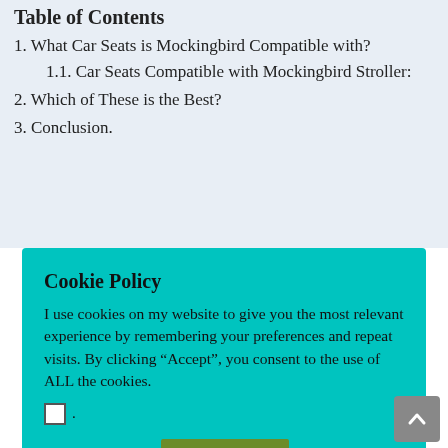Table of Contents
1. What Car Seats is Mockingbird Compatible with?
1.1. Car Seats Compatible with Mockingbird Stroller:
2. Which of These is the Best?
3. Conclusion.
Cookie Policy
I use cookies on my website to give you the most relevant experience by remembering your preferences and repeat visits. By clicking “Accept”, you consent to the use of ALL the cookies.
Cookie settings   ACCEPT
Baby Jogger City GO 2
Britax Römer B Safe 35 and Safe Ultra.
Chicco KeyFit, KeyFit 30, KeyFit 30 Magic, KeyFit 30 Zip, KeyFit 30 Zip Air, KeyFit 35, Fit2, Fit2 Air and Fit2 LE.